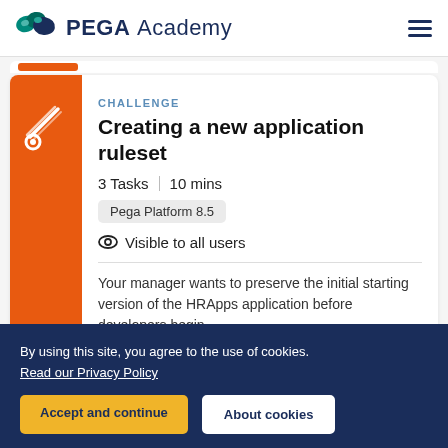PEGA Academy
CHALLENGE
Creating a new application ruleset
3 Tasks  |  10 mins
Pega Platform 8.5
Visible to all users
Your manager wants to preserve the initial starting version of the HRApps application before developers begin
By using this site, you agree to the use of cookies. Read our Privacy Policy
Accept and continue
About cookies